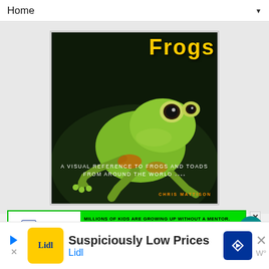Home ▼
[Figure (photo): Book cover of 'Frogs' by Chris Mattison showing a green tree frog. Subtitle: A Visual Reference to Frogs and Toads from Around the World]
[Figure (infographic): Advertisement banner for Big Brothers Big Sisters: 'MILLIONS OF KIDS ARE GROWING UP WITHOUT A MENTOR. BECOME A BIG TODAY' with Learn How button]
[Figure (infographic): Advertisement for Lidl: 'Suspiciously Low Prices' with Lidl logo and navigation arrow icon]